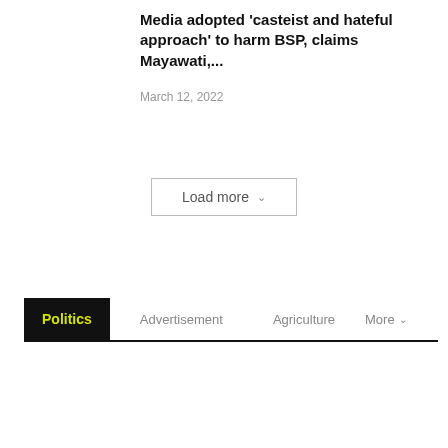Media adopted 'casteist and hateful approach' to harm BSP, claims Mayawati,...
March 12, 2022
Load more
Politics | Advertisement | Agriculture | More